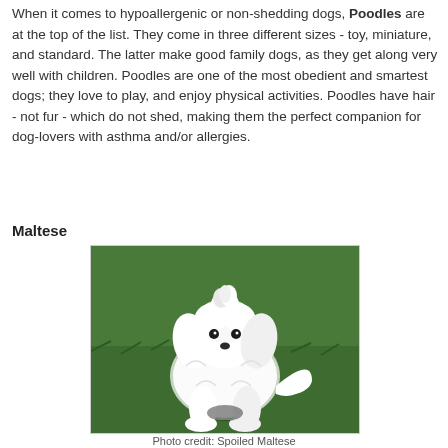When it comes to hypoallergenic or non-shedding dogs, Poodles are at the top of the list. They come in three different sizes - toy, miniature, and standard. The latter make good family dogs, as they get along very well with children. Poodles are one of the most obedient and smartest dogs; they love to play, and enjoy physical activities. Poodles have hair - not fur - which do not shed, making them the perfect companion for dog-lovers with asthma and/or allergies.
Maltese
[Figure (photo): A white Maltese dog sitting on green grass, photographed from slightly above. The dog has fluffy white fur, dark eyes, and a small tuft of hair on its head.]
Photo credit: Spoiled Maltese